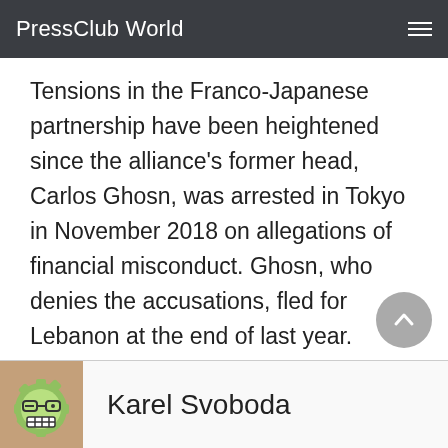PressClub World
Tensions in the Franco-Japanese partnership have been heightened since the alliance’s former head, Carlos Ghosn, was arrested in Tokyo in November 2018 on allegations of financial misconduct. Ghosn, who denies the accusations, fled for Lebanon at the end of last year.
Karel Svoboda